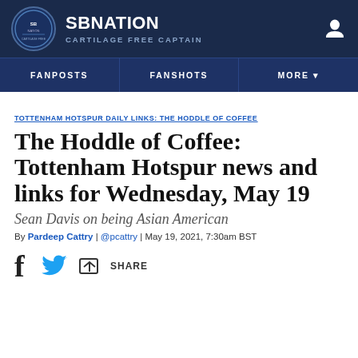SB NATION | CARTILAGE FREE CAPTAIN
TOTTENHAM HOTSPUR DAILY LINKS: THE HODDLE OF COFFEE
The Hoddle of Coffee: Tottenham Hotspur news and links for Wednesday, May 19
Sean Davis on being Asian American
By Pardeep Cattry | @pcattry | May 19, 2021, 7:30am BST